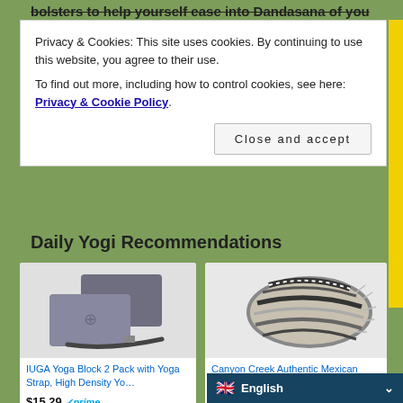bolsters to help yourself ease into Dandasana of you
Privacy & Cookies: This site uses cookies. By continuing to use this website, you agree to their use.
To find out more, including how to control cookies, see here: Privacy & Cookie Policy
Close and accept
Daily Yogi Recommendations
[Figure (photo): IUGA Yoga Block 2 Pack with Yoga Strap - two gray yoga foam blocks and a gray yoga strap]
IUGA Yoga Block 2 Pack with Yoga Strap, High Density Yo…
$15.29 ✓prime
★★★★★ (3164)
[Figure (photo): Canyon Creek Authentic Mexican Yoga Falsa Blanket (Light Brown) - rolled striped blanket with fringe]
Canyon Creek Authentic Mexican Yoga Falsa Blanket (Light Brown)
$17.00 $21.95 ✓prime
English (language selector)